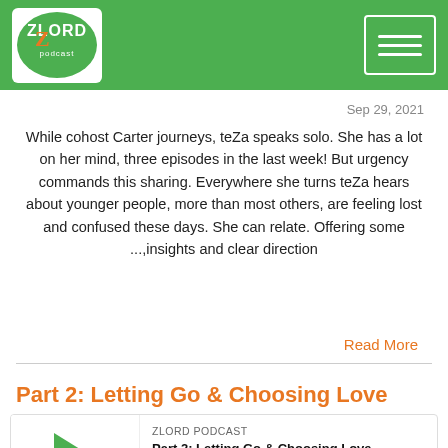[Figure (logo): ZLORD Podcast logo in green header bar with hamburger menu icon on the right]
Sep 29, 2021
While cohost Carter journeys, teZa speaks solo. She has a lot on her mind, three episodes in the last week! But urgency commands this sharing. Everywhere she turns teZa hears about younger people, more than most others, are feeling lost and confused these days. She can relate. Offering some ...,insights and clear direction
Read More
Part 2: Letting Go & Choosing Love
[Figure (screenshot): Podcast player widget showing ZLORD PODCAST label, track title 'Part 2: Letting Go & Choosing Love', play button (green triangle), progress bar, time 00:00:00, and audio control icons]